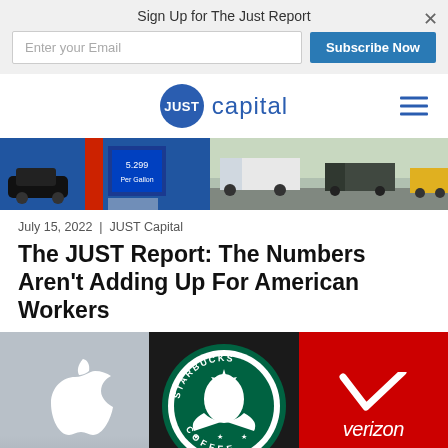Sign Up for The Just Report
Enter your Email | Subscribe Now
[Figure (logo): JUST Capital logo — blue circle with JUST in white, followed by 'capital' in blue]
[Figure (photo): Hero banner photo strip showing gas station price sign on left and trucks on highway on right]
July 15, 2022  |  JUST Capital
The JUST Report: The Numbers Aren't Adding Up For American Workers
[Figure (photo): Three-panel image collage: Apple Store interior with Apple logo on left, Starbucks Coffee circular illuminated sign in center, Verizon red storefront sign on right]